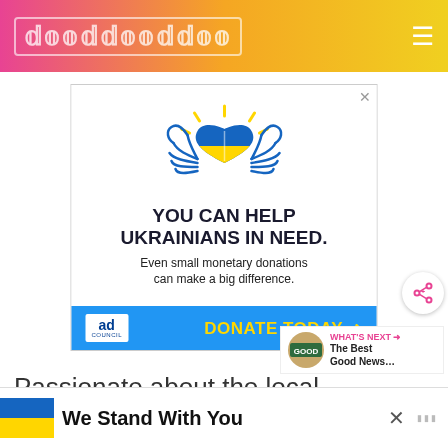GOODGOODGOOD
[Figure (infographic): Ad banner: Ukraine support ad showing a blue and yellow heart with hands/wings. Text: YOU CAN HELP UKRAINIANS IN NEED. Even small monetary donations can make a big difference. Blue bar at bottom with Ad Council logo and DONATE TODAY button.]
Passionate about the local waterways, he launched Speak Up Wekiva in 2013, a ca...e
[Figure (infographic): Bottom overlay banner showing Ukrainian flag colors (blue and yellow) with text 'We Stand With You' and a close X button.]